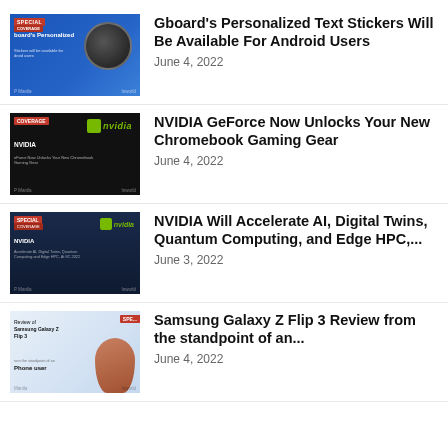[Figure (screenshot): Thumbnail for Gboard article showing blue promotional image with smartphone graphic]
Gboard's Personalized Text Stickers Will Be Available For Android Users
June 4, 2022
[Figure (screenshot): Thumbnail for NVIDIA GeForce article showing black background with NVIDIA green logo]
NVIDIA GeForce Now Unlocks Your New Chromebook Gaming Gear
June 4, 2022
[Figure (screenshot): Thumbnail for NVIDIA AI article showing dark navy background with NVIDIA logo]
NVIDIA Will Accelerate AI, Digital Twins, Quantum Computing, and Edge HPC,...
June 3, 2022
[Figure (screenshot): Thumbnail for Samsung Galaxy Z Flip 3 review showing phone held in hand]
Samsung Galaxy Z Flip 3 Review from the standpoint of an...
June 4, 2022